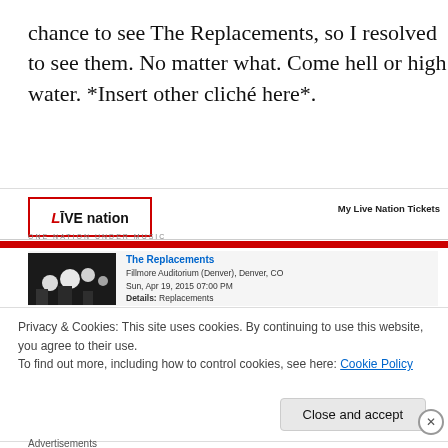chance to see The Replacements, so I resolved to see them. No matter what. Come hell or high water. *Insert other cliché here*.
[Figure (screenshot): Screenshot of Live Nation ticket website showing 'The Replacements' event at Fillmore Auditorium in Denver, CO on Sun, Apr 19, 2015 07:00 PM, with a cookie consent banner overlaying the page.]